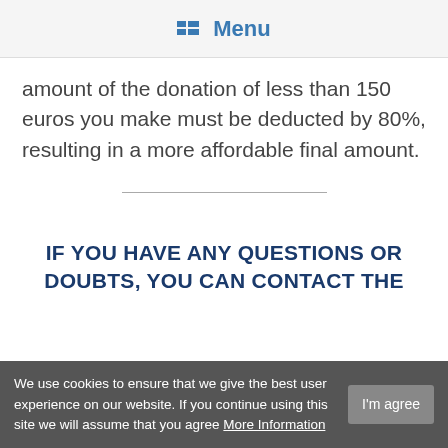Menu
amount of the donation of less than 150 euros you make must be deducted by 80%, resulting in a more affordable final amount.
IF YOU HAVE ANY QUESTIONS OR DOUBTS, YOU CAN CONTACT THE
We use cookies to ensure that we give the best user experience on our website. If you continue using this site we will assume that you agree More Information